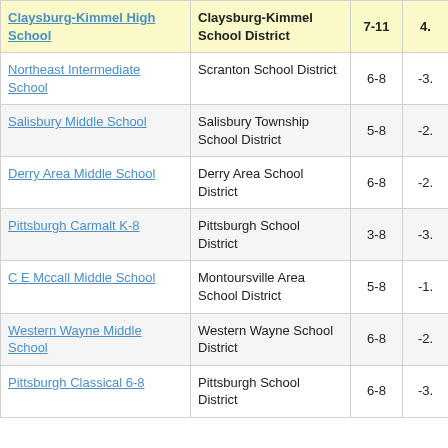| School | District | Grades | Score |
| --- | --- | --- | --- |
| Claysburg-Kimmel High School | Claysburg-Kimmel School District | 7-11 | 4. |
| Northeast Intermediate School | Scranton School District | 6-8 | -3. |
| Salisbury Middle School | Salisbury Township School District | 5-8 | -2. |
| Derry Area Middle School | Derry Area School District | 6-8 | -2. |
| Pittsburgh Carmalt K-8 | Pittsburgh School District | 3-8 | -3. |
| C E Mccall Middle School | Montoursville Area School District | 5-8 | -1. |
| Western Wayne Middle School | Western Wayne School District | 6-8 | -2. |
| Pittsburgh Classical 6-8 | Pittsburgh School District | 6-8 | -3. |